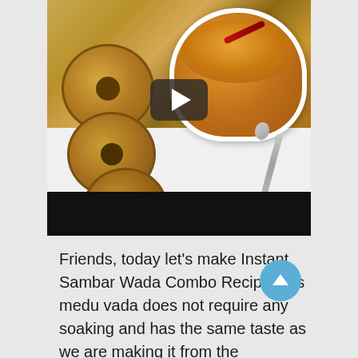[Figure (photo): Photo of Instant Sambar Wada Combo - donut-shaped fried vadas (medu vada) on a white plate alongside a bowl of sambar with a red chili and spoon. A video play button overlay is visible in the center of the image. A black bar is at the bottom of the video frame.]
Friends, today let’s make Instant Sambar Wada Combo Recipe, this medu vada does not require any soaking and has the same taste as we are making it from the